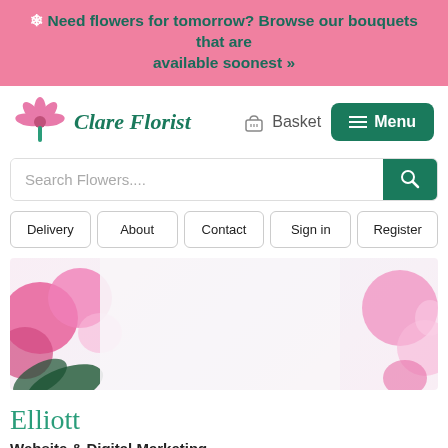❄ Need flowers for tomorrow? Browse our bouquets that are available soonest »
[Figure (logo): Clare Florist logo with pink flower and green italic text]
Basket
≡ Menu
Search Flowers....
Delivery
About
Contact
Sign in
Register
[Figure (photo): Hero banner image with pink flowers and balloons on white background]
Elliott
Website & Digital Marketing
Posted on Mar 03 2015